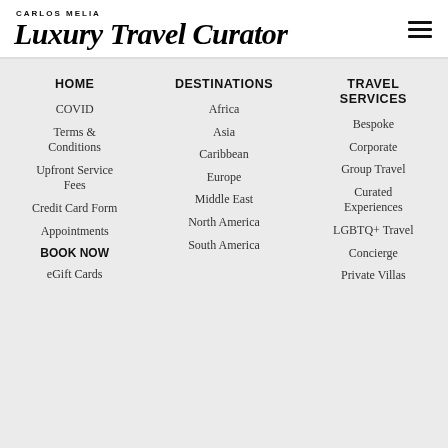[Figure (logo): Carlos Melia Luxury Travel Curator logo with hamburger menu icon]
HOME
DESTINATIONS
TRAVEL SERVICES
COVID
Terms & Conditions
Upfront Service Fees
Credit Card Form
Appointments
BOOK NOW
eGift Cards
Africa
Asia
Caribbean
Europe
Middle East
North America
South America
Bespoke
Corporate
Group Travel
Curated Experiences
LGBTQ+ Travel
Concierge
Private Villas